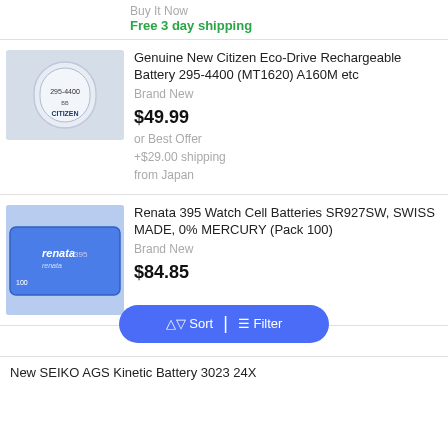Buy It Now
Free 3 day shipping
[Figure (photo): Citizen 295-4400 rechargeable battery product photo in clear packaging]
Genuine New Citizen Eco-Drive Rechargeable Battery 295-4400 (MT1620) A160M etc
Brand New
$49.99
or Best Offer
+$29.00 shipping
from Japan
[Figure (photo): Renata 395 watch cell batteries box, blue packaging, 100 pack]
Renata 395 Watch Cell Batteries SR927SW, SWISS MADE, 0% MERCURY (Pack 100)
Brand New
$84.85
New SEIKO AGS Kinetic Battery 3023 24X